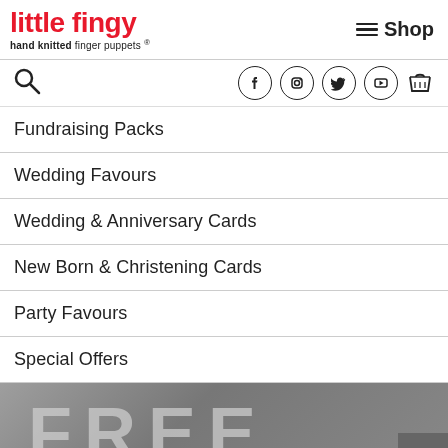little fingy — hand knitted finger puppets | Shop
Fundraising Packs
Wedding Favours
Wedding & Anniversary Cards
New Born & Christening Cards
Party Favours
Special Offers
[Figure (photo): Large wood-texture background with bold white letters spelling FREE]